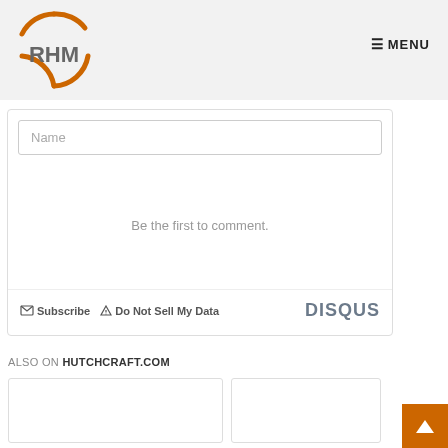RHM | MENU
Name
Be the first to comment.
Subscribe  Do Not Sell My Data  DISQUS
ALSO ON HUTCHCRAFT.COM